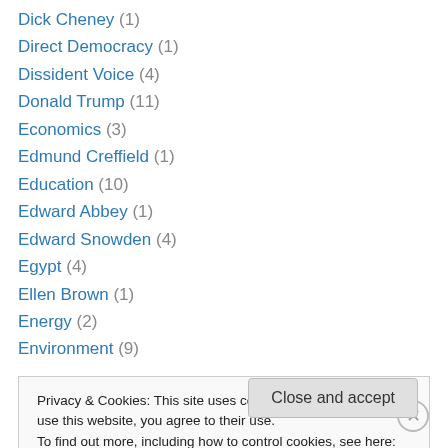Dick Cheney (1)
Direct Democracy (1)
Dissident Voice (4)
Donald Trump (11)
Economics (3)
Edmund Creffield (1)
Education (10)
Edward Abbey (1)
Edward Snowden (4)
Egypt (4)
Ellen Brown (1)
Energy (2)
Environment (9)
Privacy & Cookies: This site uses cookies. By continuing to use this website, you agree to their use. To find out more, including how to control cookies, see here: Cookie Policy
Close and accept